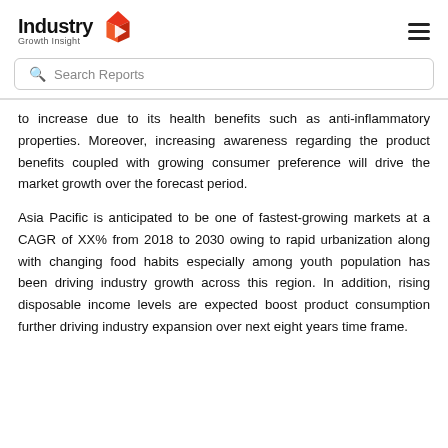Industry Growth Insight
to increase due to its health benefits such as anti-inflammatory properties. Moreover, increasing awareness regarding the product benefits coupled with growing consumer preference will drive the market growth over the forecast period.
Asia Pacific is anticipated to be one of fastest-growing markets at a CAGR of XX% from 2018 to 2030 owing to rapid urbanization along with changing food habits especially among youth population has been driving industry growth across this region. In addition, rising disposable income levels are expected boost product consumption further driving industry expansion over next eight years time frame.